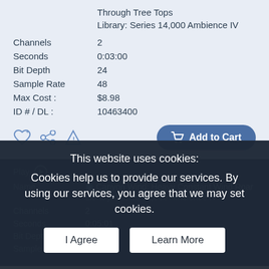Through Tree Tops
Library: Series 14,000 Ambience IV
| Channels | 2 |
| Seconds | 0:03:00 |
| Bit Depth | 24 |
| Sample Rate | 48 |
| Max Cost : | $8.98 |
| ID # / DL : | 10463400 |
Add to Cart
Play
Canyon Wind: Heavy Constant Wind Roar
Library: Series 14,000 Ambience IV
| Channels | 2 |
| Seconds | 0:05:01 |
| Bit Depth | 24 |
| Sample Rate | 48 |
This website uses cookies:
Cookies help us to provide our services. By using our services, you agree that we may set cookies.
I Agree
Learn More